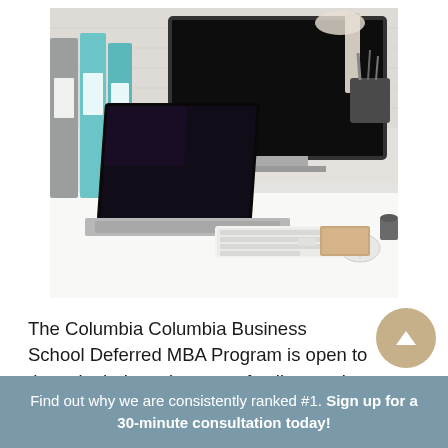[Figure (photo): A desk workspace scene with a laptop computer in the foreground with a dark/black screen, a large external monitor behind it also with a dark screen, teal/blue binders and grey binders on the left side, a white keyboard and mouse, a brown notepad or book, desk lamp and accessories in the top right corner, all on a white desk surface with a light grey/white brick wall background.]
The Columbia Columbia Business School Deferred MBA Program is open to those in their senior year of college or in their final year of a subsequent
Find out why we are consistently ranked #1. Sign up for a 30-minute consultation today!